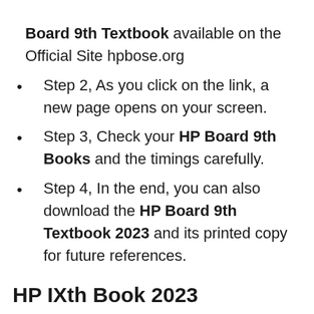Board 9th Textbook available on the Official Site hpbose.org
Step 2, As you click on the link, a new page opens on your screen.
Step 3, Check your HP Board 9th Books and the timings carefully.
Step 4, In the end, you can also download the HP Board 9th Textbook 2023 and its printed copy for future references.
HP IXth Book 2023
HP 9th Class Maths Books 2023 for